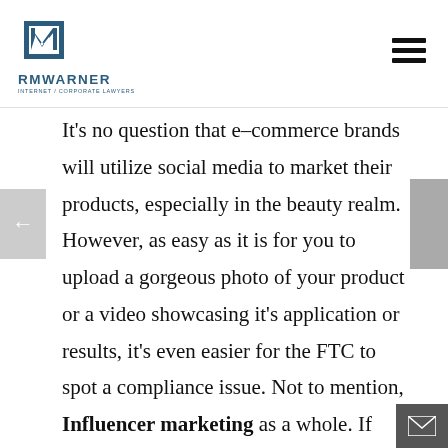RMWARNER INTERNET/CORPORATE LAWYERS
It's no question that e–commerce brands will utilize social media to market their products, especially in the beauty realm. However, as easy as it is for you to upload a gorgeous photo of your product or a video showcasing it's application or results, it's even easier for the FTC to spot a compliance issue. Not to mention, Influencer marketing as a whole. If you choose to partner with a beauty influencer to plug your product, you need to make sure that they use the proper discloser hashtags and statements in their posts. No longer can you get away